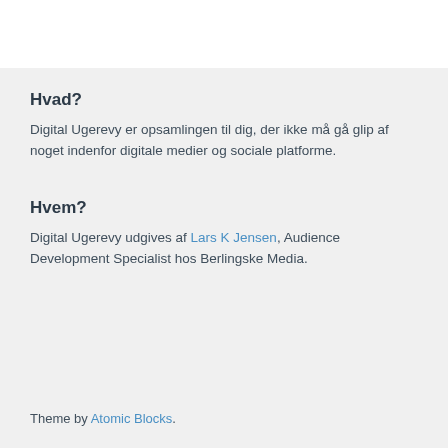Hvad?
Digital Ugerevy er opsamlingen til dig, der ikke må gå glip af noget indenfor digitale medier og sociale platforme.
Hvem?
Digital Ugerevy udgives af Lars K Jensen, Audience Development Specialist hos Berlingske Media.
Theme by Atomic Blocks.